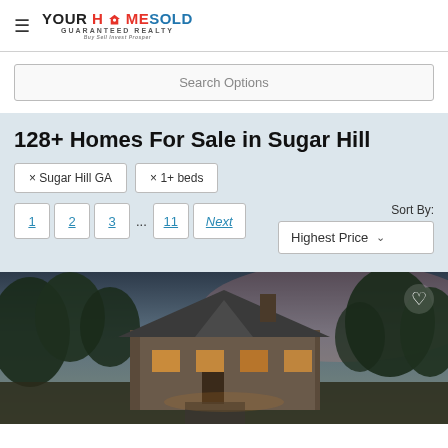[Figure (logo): Your Home Sold Guaranteed Realty logo with hamburger menu icon]
Search Options
128+ Homes For Sale in Sugar Hill
× Sugar Hill GA
× 1+ beds
1  2  3  ...  11  Next
Sort By: Highest Price
[Figure (photo): Two-story brick house at dusk with warm lit windows, trees in background, dramatic sky]